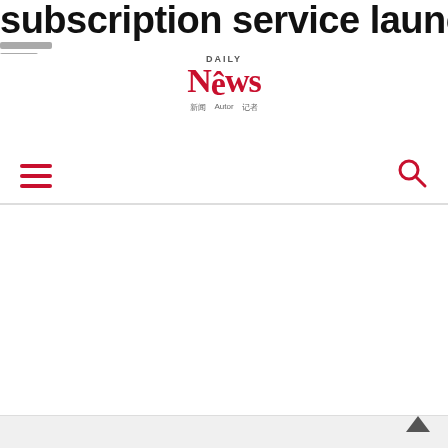subscription service launching
[Figure (logo): Daily News logo with DAILY in small caps above News in large red serif font, with navigation links below]
[Figure (screenshot): Navigation bar with red hamburger menu icon on left and red search icon on right, with horizontal divider line below]
[Figure (screenshot): Scroll to top chevron arrow icon in bottom right corner, above a light grey bar area]